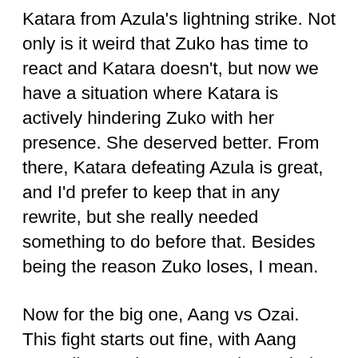Katara from Azula's lightning strike. Not only is it weird that Zuko has time to react and Katara doesn't, but now we have a situation where Katara is actively hindering Zuko with her presence. She deserved better. From there, Katara defeating Azula is great, and I'd prefer to keep that in any rewrite, but she really needed something to do before that. Besides being the reason Zuko loses, I mean.
Now for the big one, Aang vs Ozai. This fight starts out fine, with Aang struggling against a supercharged Fire Lord. The animation is also beautiful, though it doesn't have the same visceral thrill as the Azula fight because Ozai isn't nearly as big a presence in the show. Then we hit the first very strange choice: Aang regains the Avatar State